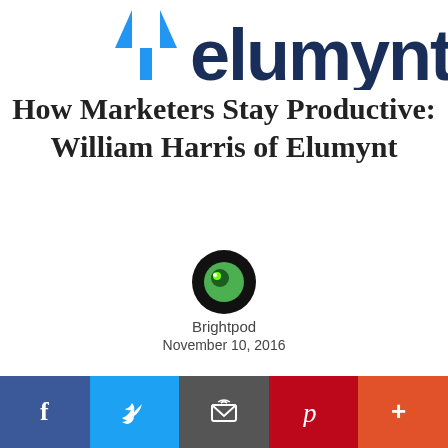[Figure (logo): Elumynt logo — blue icon with text 'elumynt' in dark navy, partially cropped at top]
How Marketers Stay Productive: William Harris of Elumynt
[Figure (photo): Brightpod author avatar — circular black icon with green eye/leaf logo]
Brightpod
November 10, 2016
This week we feature, William Harris, a Growth Marketer and the Owner at Elumynt. Elumynt is Growth & h...
This website uses cookies to ensure you get the best experience on our website.  Learn more
Got it!
[Figure (infographic): Social share bar with Facebook (blue), Twitter (light blue), Email (grey), Pinterest (red), More (orange-red) buttons showing respective icons]